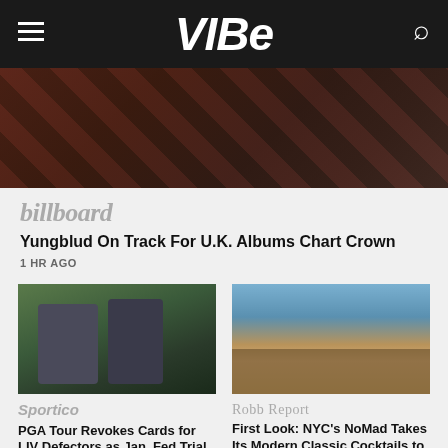VIBE
[Figure (photo): Partial hero image of a person wearing a red/black outfit, cropped at top]
billboard
Yungblud On Track For U.K. Albums Chart Crown
1 HR AGO
[Figure (photo): Two men in dark athletic wear standing outdoors on a golf course, smiling]
Sportico
PGA Tour Revokes Cards for LIV Defectors as Jan. Fed Trial Looms
[Figure (photo): Outdoor resort or restaurant venue with palm trees, umbrellas, and decorative archway at night]
Robb Report
First Look: NYC's NoMad Takes Its Modern Classic Cocktails to the Sunshine State